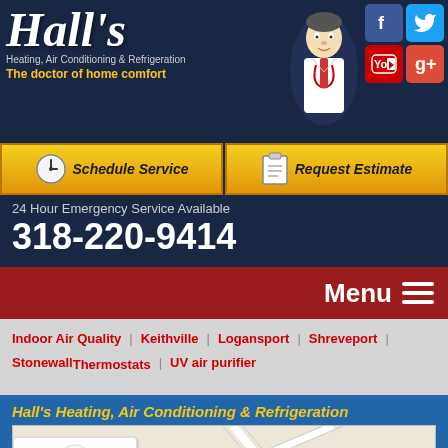[Figure (logo): Hall's Heating, Air Conditioning & Refrigeration logo with doctor mascot illustration on dark navy background]
Hall's
Heating, Air Conditioning & Refrigeration
The doctor of home comfort
Schedule Service
Request Estimate
24 Hour Emergency Service Available
318-220-9414
Menu
Indoor Air Quality
Keithville
Logansport
Shreveport
Stonewall
Thermostats
UV air purifier
Hall's Heating, Air Conditioning & Refrigeration
[Figure (map): Google Maps embed showing location with a red pin marker, street view with N Hearne Ave visible]